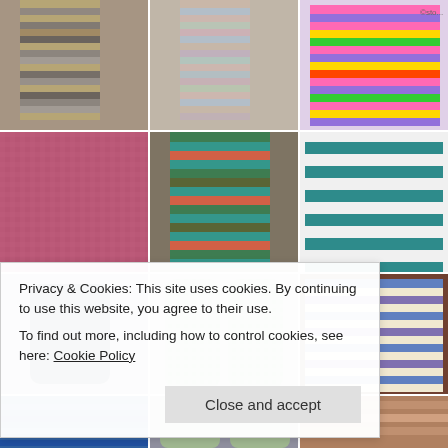[Figure (photo): 3x3 grid of 9 knitted sock photos. Row 1: colorful striped socks on legs, pastel striped socks on feet, bright multicolor striped socks toes up. Row 2: pink textured knitted socks close-up, teal/green/orange striped socks on feet on couch, teal and white striped flat socks. Row 3: dark navy blue sock, green textured socks flat, blue/purple striped socks flat. Below grid: partial row of more socks cropped.]
Privacy & Cookies: This site uses cookies. By continuing to use this website, you agree to their use.
To find out more, including how to control cookies, see here: Cookie Policy
Close and accept